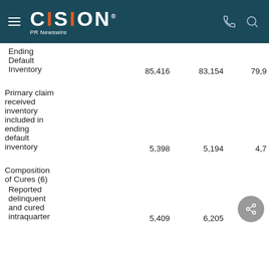CISION PR Newswire
|  | Col1 | Col2 | Col3 |
| --- | --- | --- | --- |
| Ending |  |  |  |
| Default |  |  |  |
| Inventory | 85,416 | 83,154 | 79,9… |
|  |  |  |  |
| Primary claim received inventory included in ending default inventory |  |  |  |
| inventory | 5,398 | 5,194 | 4,7… |
|  |  |  |  |
| Composition of Cures (6) |  |  |  |
| Reported delinquent and cured intraquarter |  |  |  |
| intraquarter | 5,409 | 6,205 | … |